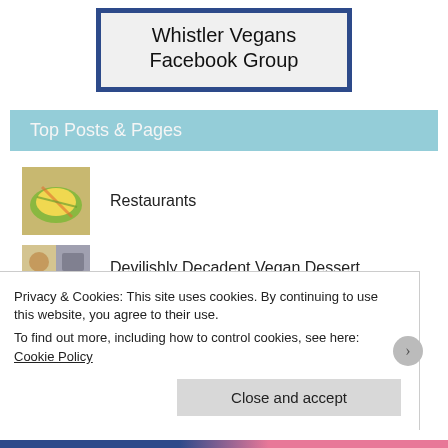Whistler Vegans Facebook Group
Top Posts & Pages
Restaurants
Devilishly Decadent Vegan Dessert Challenge Winners!
Privacy & Cookies: This site uses cookies. By continuing to use this website, you agree to their use.
To find out more, including how to control cookies, see here: Cookie Policy
Close and accept